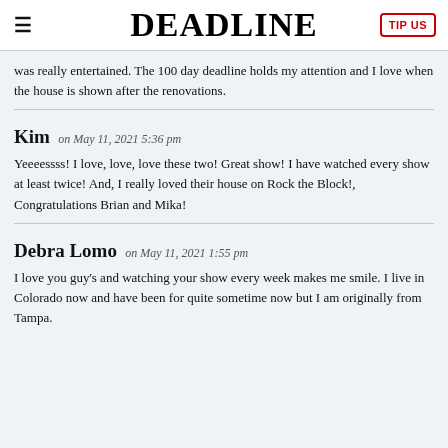DEADLINE
was really entertained. The 100 day deadline holds my attention and I love when the house is shown after the renovations.
Kim on May 11, 2021 5:36 pm
Yeeeessss! I love, love, love these two! Great show! I have watched every show at least twice! And, I really loved their house on Rock the Block!, Congratulations Brian and Mika!
Debra Lomo on May 11, 2021 1:55 pm
I love you guy's and watching your show every week makes me smile. I live in Colorado now and have been for quite sometime now but I am originally from Tampa.